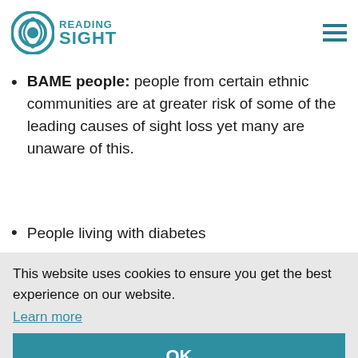Reading Sight
nt, or delaying visits until they experience symptoms.
BAME people: people from certain ethnic communities are at greater risk of some of the leading causes of sight loss yet many are unaware of this.
People living with diabetes
Learning disabled people
People living with dementia
People who smoke
Stroke survivors.
This website uses cookies to ensure you get the best experience on our website.
Learn more
OK
MAIN CAUSES